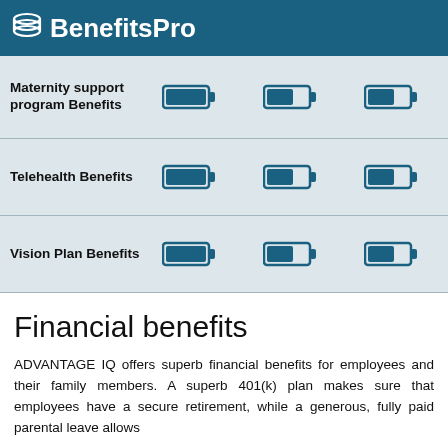BenefitsPro
| Benefit | Level 1 | Level 2 | Level 3 |
| --- | --- | --- | --- |
| Maternity support program Benefits | [battery-full] | [battery-half] | [battery-half] |
| Telehealth Benefits | [battery-full] | [battery-half] | [battery-half] |
| Vision Plan Benefits | [battery-full] | [battery-half] | [battery-half] |
Financial benefits
ADVANTAGE IQ offers superb financial benefits for employees and their family members. A superb 401(k) plan makes sure that employees have a secure retirement, while a generous, fully paid parental leave allows